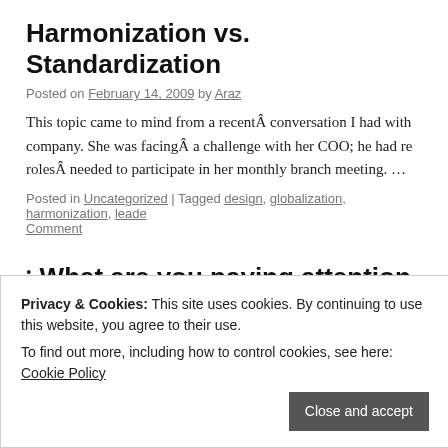Harmonization vs. Standardization
Posted on February 14, 2009 by Araz
This topic came to mind from a recentÂ conversation I had with company. She was facingÂ a challenge with her COO; he had re rolesÂ needed to participate in her monthly branch meeting. …
Posted in Uncategorized | Tagged design, globalization, harmonization, leade Comment
What are you paying attention to?
Posted on January 31, 2009 by Araz
Privacy & Cookies: This site uses cookies. By continuing to use this website, you agree to their use.
To find out more, including how to control cookies, see here: Cookie Policy
Close and accept